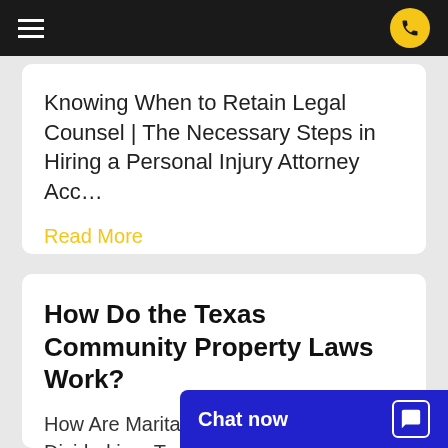Navigation bar with hamburger menu and phone button
Knowing When to Retain Legal Counsel | The Necessary Steps in Hiring a Personal Injury Attorney Acc…
Read More
How Do the Texas Community Property Laws Work?
How Are Marital Debts and Assets Divided in a Texas Divorce? When you seek to legally terminate you…
Read More
Chat now